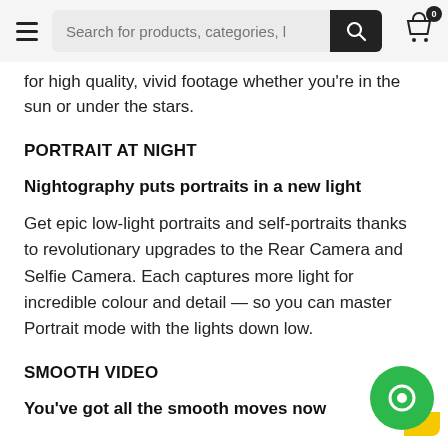Search for products, categories, l
for high quality, vivid footage whether you're in the sun or under the stars.
PORTRAIT AT NIGHT
Nightography puts portraits in a new light
Get epic low-light portraits and self-portraits thanks to revolutionary upgrades to the Rear Camera and Selfie Camera. Each captures more light for incredible colour and detail — so you can master Portrait mode with the lights down low.
SMOOTH VIDEO
You've got all the smooth moves now